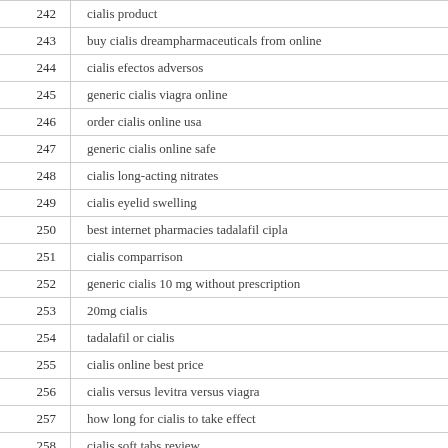| # | Term |
| --- | --- |
| 242 | cialis product |
| 243 | buy cialis dreampharmaceuticals from online |
| 244 | cialis efectos adversos |
| 245 | generic cialis viagra online |
| 246 | order cialis online usa |
| 247 | generic cialis online safe |
| 248 | cialis long-acting nitrates |
| 249 | cialis eyelid swelling |
| 250 | best internet pharmacies tadalafil cipla |
| 251 | cialis comparrison |
| 252 | generic cialis 10 mg without prescription |
| 253 | 20mg cialis |
| 254 | tadalafil or cialis |
| 255 | cialis online best price |
| 256 | cialis versus levitra versus viagra |
| 257 | how long for cialis to take effect |
| 258 | cialis soft tabs review |